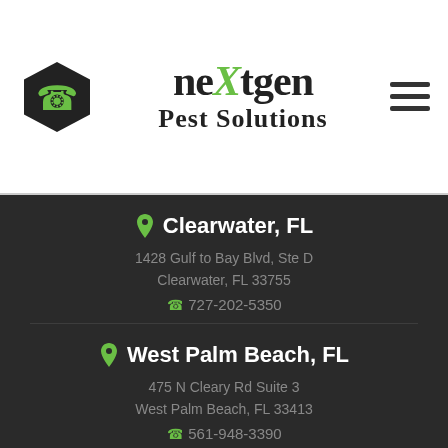[Figure (logo): NextGen Pest Solutions logo with phone icon hexagon on left, centered text logo 'neXtgen Pest Solutions', and hamburger menu on right]
Clearwater, FL
1428 Gulf to Bay Blvd, Ste D
Clearwater, FL 33755
727-202-5350
West Palm Beach, FL
475 N Cleary Rd Suite 3
West Palm Beach, FL 33413
561-948-3390
West Palm Beach, FL